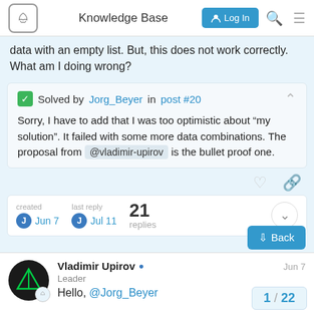Knowledge Base
data with an empty list. But, this does not work correctly. What am I doing wrong?
Solved by Jorg_Beyer in post #20
Sorry, I have to add that I was too optimistic about “my solution”. It failed with some more data combinations. The proposal from @vladimir-upirov is the bullet proof one.
created Jun 7  last reply Jul 11  21 replies
Vladimir Upirov
Leader
Hello, @Jorg_Beyer